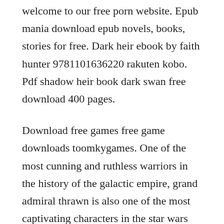welcome to our free porn website. Epub mania download epub novels, books, stories for free. Dark heir ebook by faith hunter 9781101636220 rakuten kobo. Pdf shadow heir book dark swan free download 400 pages.
Download free games free game downloads toomkygames. One of the most cunning and ruthless warriors in the history of the galactic empire, grand admiral thrawn is also one of the most captivating characters in the star wars universe, from his introduction in bestselling author timothy zahns classic heir